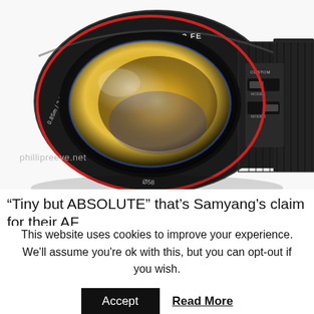[Figure (photo): Close-up photograph of a Samyang AF 75/1.8 FE camera lens on white background. The black lens shows the text 'AF 75 / 1.8 FE' on the barrel, a red accent ring, focus ring with markings '0.85m / 2.26ft' and 'Ø58', and control switches labeled CUSTOM and MODE on the right side.]
phillipreeve.net
“Tiny but ABSOLUTE” that’s Samyang’s claim for their AF
This website uses cookies to improve your experience. We'll assume you're ok with this, but you can opt-out if you wish.
Accept
Read More